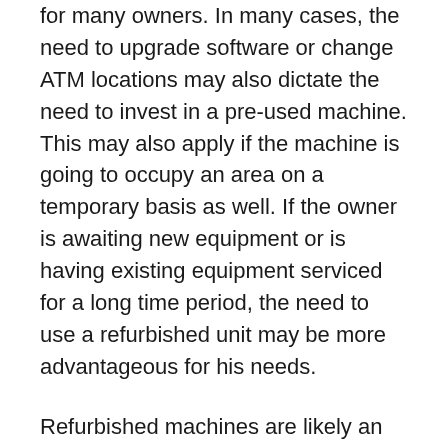for many owners. In many cases, the need to upgrade software or change ATM locations may also dictate the need to invest in a pre-used machine. This may also apply if the machine is going to occupy an area on a temporary basis as well. If the owner is awaiting new equipment or is having existing equipment serviced for a long time period, the need to use a refurbished unit may be more advantageous for his needs.
Refurbished machines are likely an ideal situation is in terms of security and privacy. These days, customers are more aware and have a higher sense of security when it comes to protecting their financial information. More current, up-to-date ATM machines not only have software to accommodate these issues, but there are also hardware tools like money dispensing covers or privacy trays that allow the